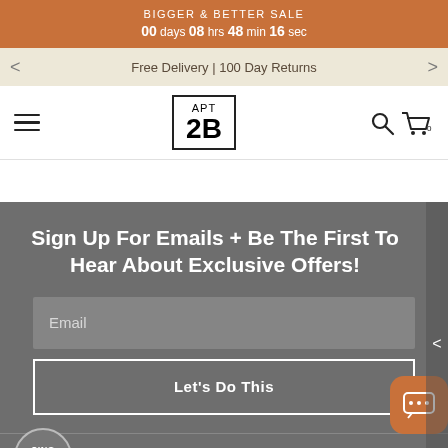BIGGER & BETTER SALE
00 days 08 hrs 48 min 16 sec
Free Delivery | 100 Day Returns
[Figure (logo): APT 2B logo in a rectangular border]
Sign Up For Emails + Be The First To Hear About Exclusive Offers!
Email
Let's Do This